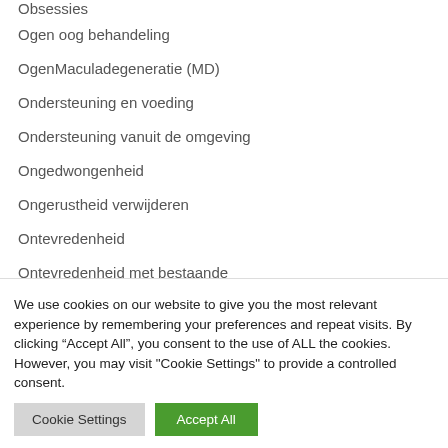Obsessies
Ogen oog behandeling
OgenMaculadegeneratie (MD)
Ondersteuning en voeding
Ondersteuning vanuit de omgeving
Ongedwongenheid
Ongerustheid verwijderen
Ontevredenheid
Ontevredenheid met bestaande
We use cookies on our website to give you the most relevant experience by remembering your preferences and repeat visits. By clicking “Accept All”, you consent to the use of ALL the cookies. However, you may visit "Cookie Settings" to provide a controlled consent.